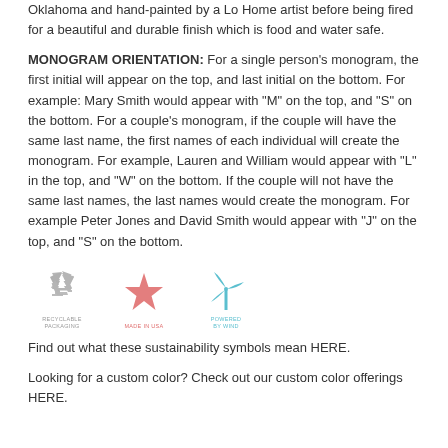Oklahoma and hand-painted by a Lo Home artist before being fired for a beautiful and durable finish which is food and water safe.
MONOGRAM ORIENTATION: For a single person's monogram, the first initial will appear on the top, and last initial on the bottom. For example: Mary Smith would appear with "M" on the top, and "S" on the bottom. For a couple's monogram, if the couple will have the same last name, the first names of each individual will create the monogram. For example, Lauren and William would appear with "L" in the top, and "W" on the bottom. If the couple will not have the same last names, the last names would create the monogram. For example Peter Jones and David Smith would appear with "J" on the top, and "S" on the bottom.
[Figure (logo): Three sustainability icons: recyclable packaging (grey recycling symbol), made in USA (pink/coral star), powered by wind (blue wind turbine)]
Find out what these sustainability symbols mean HERE.
Looking for a custom color? Check out our custom color offerings HERE.